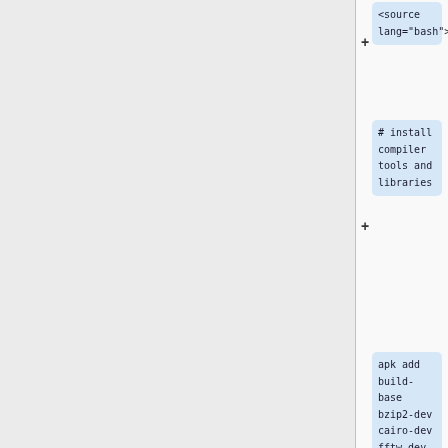[Figure (screenshot): A code/document editor view showing XML/bash source blocks with line additions marked by + signs. The right column shows code blocks with light blue backgrounds containing bash commands for installing compiler tools and libraries.]
<source lang="bash">
# install compiler tools and libraries
apk add build-base bzip2-dev cairo-dev fftw-dev freetype-dev g++ gcc gdal-dev geos-dev git \
gnutls-dev libc6-compat